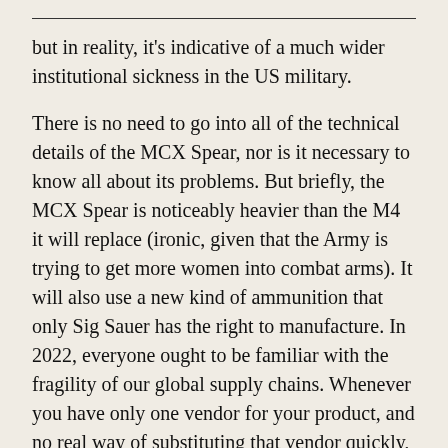but in reality, it's indicative of a much wider institutional sickness in the US military.
There is no need to go into all of the technical details of the MCX Spear, nor is it necessary to know all about its problems. But briefly, the MCX Spear is noticeably heavier than the M4 it will replace (ironic, given that the Army is trying to get more women into combat arms). It will also use a new kind of ammunition that only Sig Sauer has the right to manufacture. In 2022, everyone ought to be familiar with the fragility of our global supply chains. Whenever you have only one vendor for your product, and no real way of substituting that vendor quickly, supply